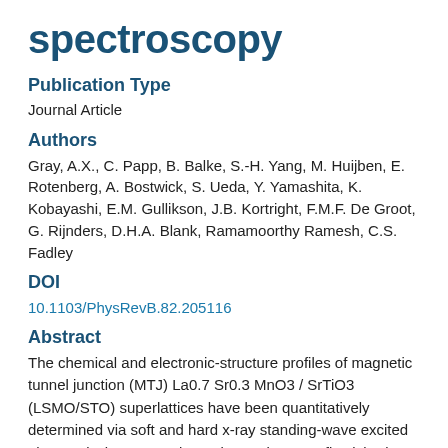spectroscopy
Publication Type
Journal Article
Authors
Gray, A.X., C. Papp, B. Balke, S.-H. Yang, M. Huijben, E. Rotenberg, A. Bostwick, S. Ueda, Y. Yamashita, K. Kobayashi, E.M. Gullikson, J.B. Kortright, F.M.F. De Groot, G. Rijnders, D.H.A. Blank, Ramamoorthy Ramesh, C.S. Fadley
DOI
10.1103/PhysRevB.82.205116
Abstract
The chemical and electronic-structure profiles of magnetic tunnel junction (MTJ) La0.7 Sr0.3 MnO3 / SrTiO3 (LSMO/STO) superlattices have been quantitatively determined via soft and hard x-ray standing-wave excited photoemission, x-ray absorption and x-ray reflectivity, in conjunction with x-ray optical and core-hole multiplet theoretical modeling. Epitaxial